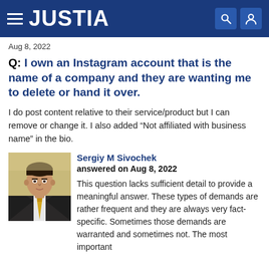JUSTIA
Aug 8, 2022
Q: I own an Instagram account that is the name of a company and they are wanting me to delete or hand it over.
I do post content relative to their service/product but I can remove or change it. I also added “Not affiliated with business name” in the bio.
Sergiy M Sivochek
answered on Aug 8, 2022
This question lacks sufficient detail to provide a meaningful answer. These types of demands are rather frequent and they are always very fact-specific. Sometimes those demands are warranted and sometimes not. The most important